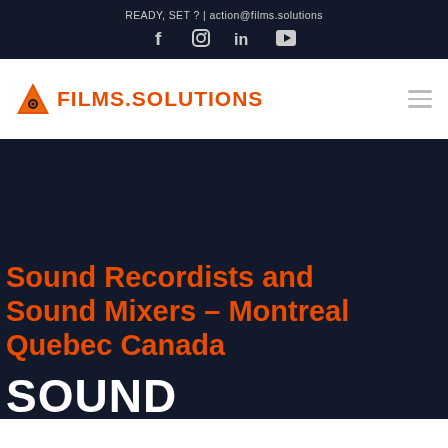READY, SET ? | action@films.solutions
[Figure (logo): Social media icons: Facebook, Instagram, LinkedIn, YouTube]
[Figure (logo): Films.Solutions logo with orange triangle icon and orange bold text FILMS.SOLUTIONS on white navigation bar]
Sound Recordists and Sound Mixers – Montreal Quebec Canada
SOUND